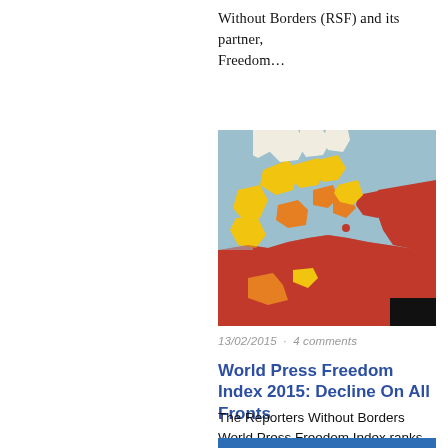Without Borders (RSF) and its partner, Freedom…
[Figure (map): World Press Freedom Index map showing Europe and North Africa colored by press freedom level: white/light (good), yellow (satisfactory), orange (problematic), red (bad), dark red (very serious). Countries in northern Europe appear white/yellow, Mediterranean countries orange/yellow, North Africa and Middle East regions in red.]
13/02/2015  ·  4 comments
World Press Freedom Index 2015: Decline On All Fronts
The Reporters Without Borders World Press Freedom Index ranks the performance of 180 countries according to a range of criteria that include media pluralism and…